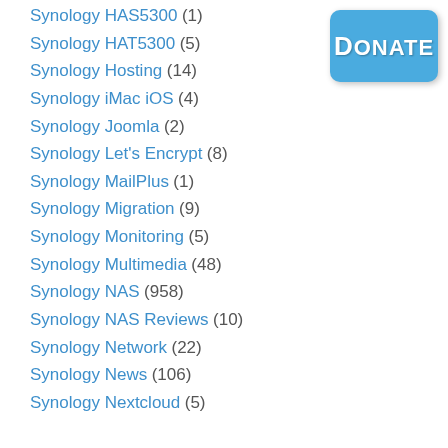[Figure (other): Blue rounded rectangle Donate button with white bold text 'DONATE']
Synology HAS5300 (1)
Synology HAT5300 (5)
Synology Hosting (14)
Synology iMac iOS (4)
Synology Joomla (2)
Synology Let's Encrypt (8)
Synology MailPlus (1)
Synology Migration (9)
Synology Monitoring (5)
Synology Multimedia (48)
Synology NAS (958)
Synology NAS Reviews (10)
Synology Network (22)
Synology News (106)
Synology Nextcloud (5)